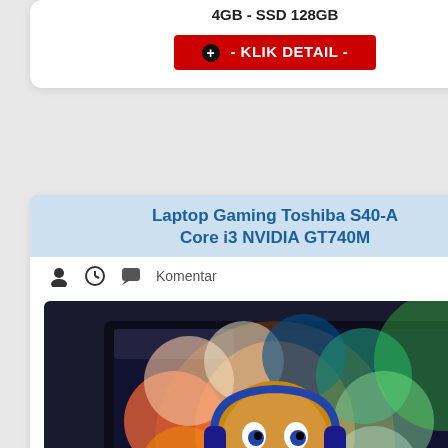4GB - SSD 128GB
[Figure (screenshot): Red KLIK DETAIL button with plus icon]
Laptop Gaming Toshiba S40-A Core i3 NVIDIA GT740M
Komentar
[Figure (photo): Photo of Toshiba laptop with colorful lion wallpaper on screen, keyboard visible]
Harga : Rp.2.250.000,- ( Habis ) RAM 4GB - Hardisk 500GB SATA
[Figure (screenshot): Red KLIK DETAIL button with plus icon]